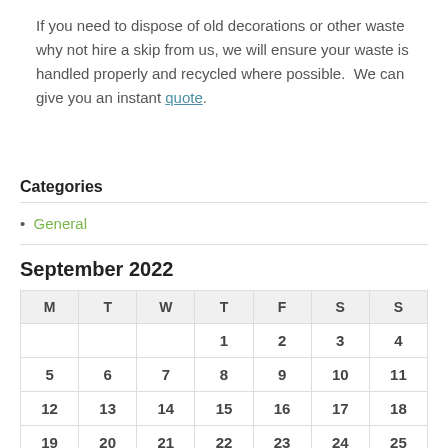If you need to dispose of old decorations or other waste why not hire a skip from us, we will ensure your waste is handled properly and recycled where possible.  We can give you an instant quote.
Categories
General
September 2022
| M | T | W | T | F | S | S |
| --- | --- | --- | --- | --- | --- | --- |
|  |  |  | 1 | 2 | 3 | 4 |
| 5 | 6 | 7 | 8 | 9 | 10 | 11 |
| 12 | 13 | 14 | 15 | 16 | 17 | 18 |
| 19 | 20 | 21 | 22 | 23 | 24 | 25 |